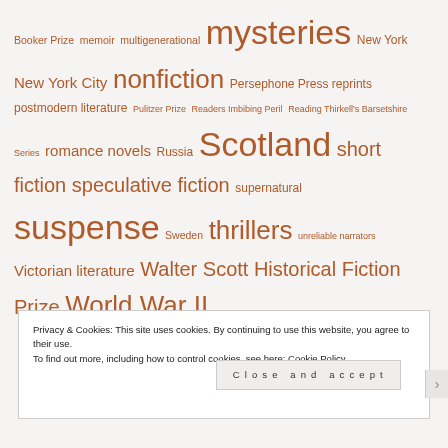Booker Prize memoir multigenerational mysteries New York New York City nonfiction Persephone Press reprints postmodern literature Pulitzer Prize Readers Imbibing Peril Reading Thirkell's Barsetshire Series romance novels Russia Scotland short fiction speculative fiction supernatural suspense Sweden thrillers unreliable narrators Victorian literature Walter Scott Historical Fiction Prize World War II
Privacy & Cookies: This site uses cookies. By continuing to use this website, you agree to their use. To find out more, including how to control cookies, see here: Cookie Policy
Close and accept